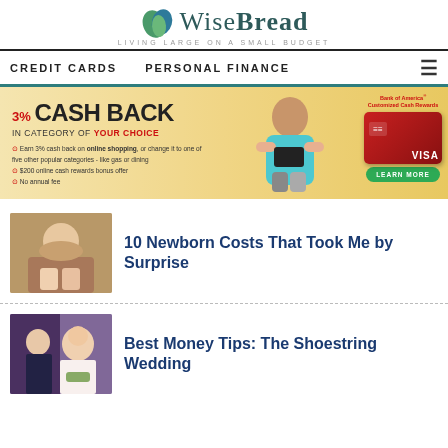[Figure (logo): WiseBread logo with leaf icon and tagline LIVING LARGE ON A SMALL BUDGET]
CREDIT CARDS   PERSONAL FINANCE
[Figure (infographic): Bank of America Customized Cash Rewards credit card advertisement: 3% Cash Back in Category of Your Choice, earn 3% cash back on online shopping or change to one of five other popular categories like gas or dining, $200 online cash rewards bonus offer, No annual fee, LEARN MORE button]
[Figure (photo): Thumbnail photo of baby/newborn with adults]
10 Newborn Costs That Took Me by Surprise
[Figure (photo): Thumbnail photo of wedding couple]
Best Money Tips: The Shoestring Wedding